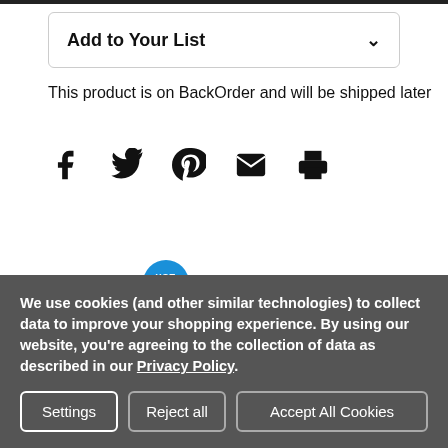Add to Your List
This product is on BackOrder and will be shipped later
[Figure (other): Social share icons: Facebook, Twitter, Pinterest, Email, Print]
Powered by Yotpo
[Figure (other): Star rating icons (partial, truncated)]
We use cookies (and other similar technologies) to collect data to improve your shopping experience. By using our website, you're agreeing to the collection of data as described in our Privacy Policy.
Settings
Reject all
Accept All Cookies